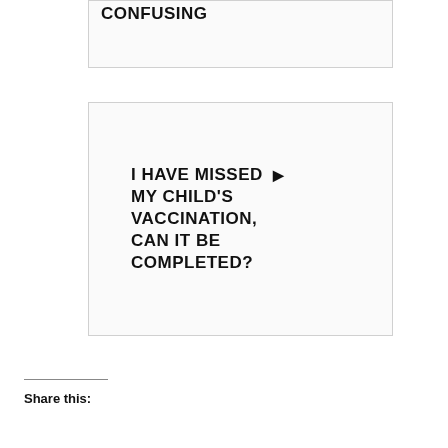CONFUSING
I HAVE MISSED MY CHILD'S VACCINATION, CAN IT BE COMPLETED?
Share this: